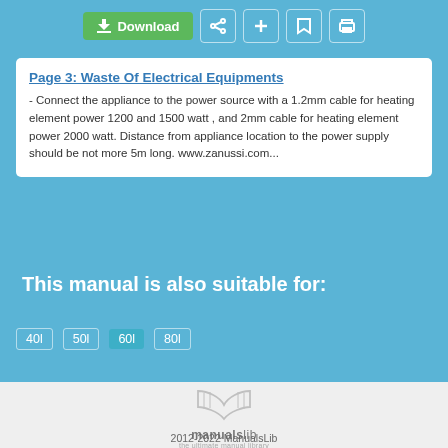[Figure (screenshot): Top navigation bar with Download button and icon buttons on blue background]
Page 3: Waste Of Electrical Equipments
- Connect the appliance to the power source with a 1.2mm cable for heating element power 1200 and 1500 watt , and 2mm cable for heating element power 2000 watt. Distance from appliance location to the power supply should be not more 5m long. www.zanussi.com...
This manual is also suitable for:
40l
50l
60l
80l
[Figure (logo): ManualsLib logo - open book icon with manualslib text and tagline 'the ultimate manual library']
2012-2022 ManualsLib